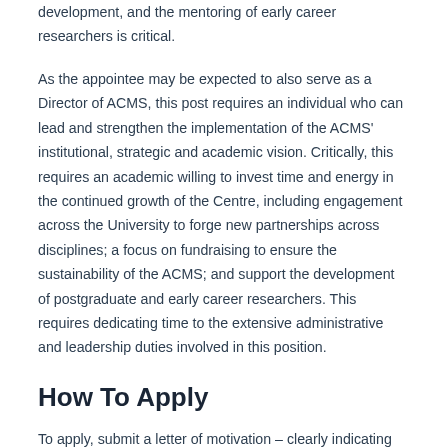development, and the mentoring of early career researchers is critical.
As the appointee may be expected to also serve as a Director of ACMS, this post requires an individual who can lead and strengthen the implementation of the ACMS’ institutional, strategic and academic vision. Critically, this requires an academic willing to invest time and energy in the continued growth of the Centre, including engagement across the University to forge new partnerships across disciplines; a focus on fundraising to ensure the sustainability of the ACMS; and support the development of postgraduate and early career researchers. This requires dedicating time to the extensive administrative and leadership duties involved in this position.
How To Apply
To apply, submit a letter of motivation – clearly indicating which position you are applying for,